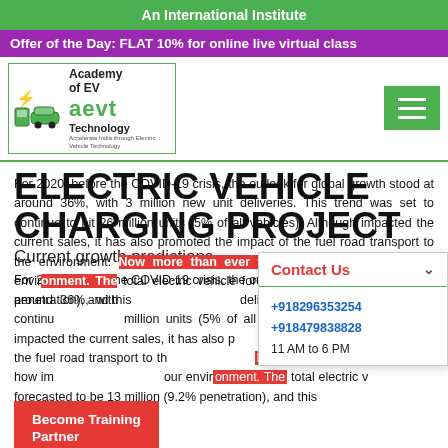An International Institute
Offer of the Day: FLAT 10% for online live virtual class
[Figure (logo): Academy of EV Technology (aevt) logo with green car charging icon]
ELECTRIC VEHICLE CHARGING PROJECT
Current growth predictions
For 2020, before the COVID-19 crisis, the outlook for global growth stood at around 36%, with 3 million new unit deliveries. This trend was set to continue to hit 26 million units (5% of all vehicles). Although COVID-19 has impacted the current sales, it has also highlighted the impact of the fuel road transport to the environment. Now more than ever we realize how important it is for our environment. The total electric vehicle sales forecasted to be 13 million (9.2% penetration), and this